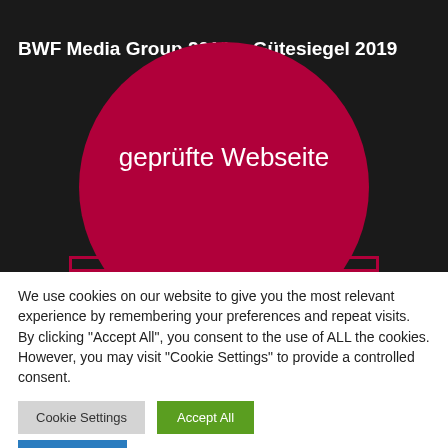BWF Media Group 2019
Gütesiegel 2019
[Figure (logo): Crimson semicircle seal badge with text 'geprüfte Webseite' on dark background]
We use cookies on our website to give you the most relevant experience by remembering your preferences and repeat visits. By clicking "Accept All", you consent to the use of ALL the cookies. However, you may visit "Cookie Settings" to provide a controlled consent.
Cookie Settings
Accept All
Translate »